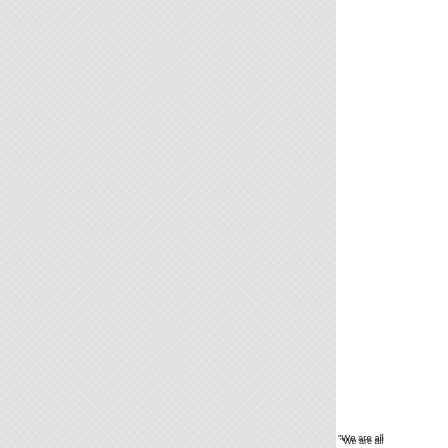[Figure (photo): Food photo showing what appears to be barbecue or grilled meat with a dark bottle in the background, warm amber and brown tones]
"We are all
(Recipe, Co
Posted by Ki
Picnics, Barb
Save
Technorati Ta
powder, grou
powder, swe
barbecue sa
Comment